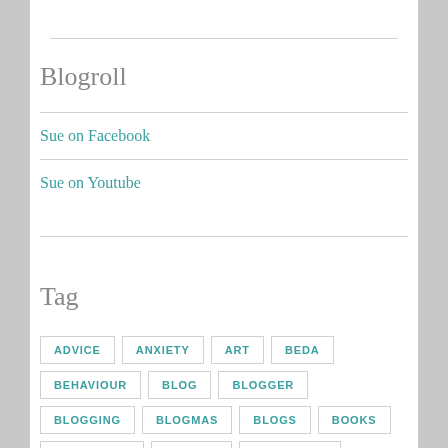Blogroll
Sue on Facebook
Sue on Youtube
Tag
ADVICE
ANXIETY
ART
BEDA
BEHAVIOUR
BLOG
BLOGGER
BLOGGING
BLOGMAS
BLOGS
BOOKS
CHALLENGE
CHANGE
CHRISTMAS
COLLEGE
COPING